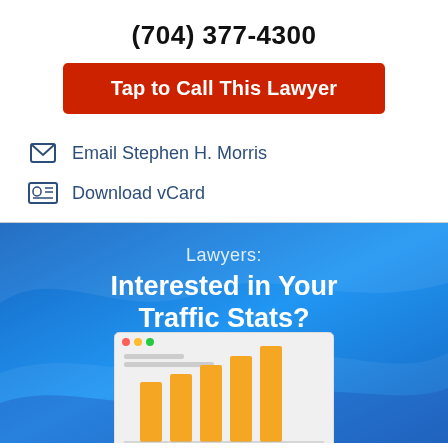(704) 377-4300
Tap to Call This Lawyer
Email Stephen H. Morris
Download vCard
Lawyers: Interested in Your Traffic Stats?
[Figure (infographic): Browser window showing a bar chart with increasing orange bars, representing traffic stats. Background is a blue gradient with wave shapes.]